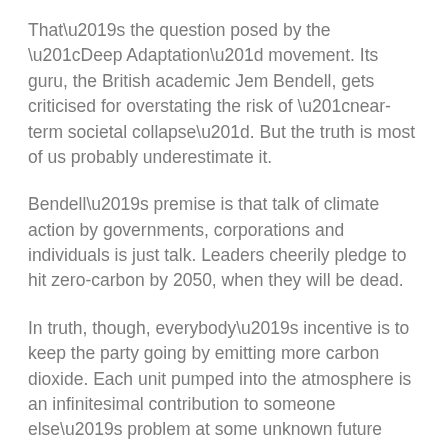That’s the question posed by the “Deep Adaptation” movement. Its guru, the British academic Jem Bendell, gets criticised for overstating the risk of “near-term societal collapse”. But the truth is most of us probably underestimate it.
Bendell’s premise is that talk of climate action by governments, corporations and individuals is just talk. Leaders cheerily pledge to hit zero-carbon by 2050, when they will be dead.
In truth, though, everybody’s incentive is to keep the party going by emitting more carbon dioxide. Each unit pumped into the atmosphere is an infinitesimal contribution to someone else’s problem at some unknown future time.
This will be true even for our children living with climate disaster. Inevitably, then, carbon emissions kept rising until